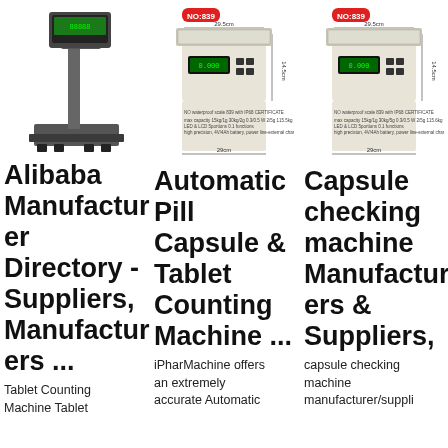[Figure (photo): Platform weighing scale with pole-mounted display screen, black/grey color]
[Figure (photo): Waterproof scale NO:839 with dimension annotations showing 29.5cm x 19.5cm x 14.5cm, white/beige body with LED display, red NO:839 badge label]
[Figure (photo): Waterproof scale NO:839 with dimension annotations showing 29.5cm x 19.5cm x 14.5cm, white/beige body with LED display, red NO:839 badge label (duplicate)]
Alibaba Manufacturer Directory - Suppliers, Manufacturers ...
Automatic Pill Capsule & Tablet Counting Machine ...
Capsule checking machine Manufacturers & Suppliers,
Tablet Counting Machine Tablet
iPharMachine offers an extremely accurate Automatic
capsule checking machine manufacturer/suppli